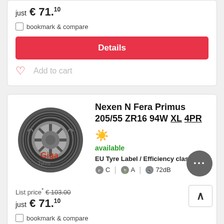just € 71.10
bookmark & compare
Details
Add to cart
[Figure (photo): Nexen N Fera Primus tyre with Giga Tyres watermark]
Nexen N Fera Primus 205/55 ZR16 94W XL 4PR
available
EU Tyre Label / Efficiency class:
C  A  72dB
List price* € 103.00
just € 71.10
bookmark & compare